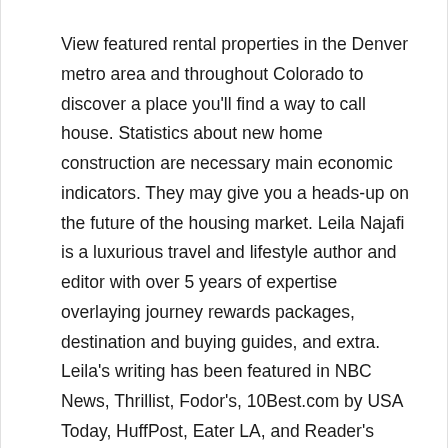View featured rental properties in the Denver metro area and throughout Colorado to discover a place you'll find a way to call house. Statistics about new home construction are necessary main economic indicators. They may give you a heads-up on the future of the housing market. Leila Najafi is a luxurious travel and lifestyle author and editor with over 5 years of expertise overlaying journey rewards packages, destination and buying guides, and extra. Leila's writing has been featured in NBC News, Thrillist, Fodor's, 10Best.com by USA Today, HuffPost, Eater LA, and Reader's Digest. But, for the rationale that threat with these is low, the return will not be as high as buying an income property.